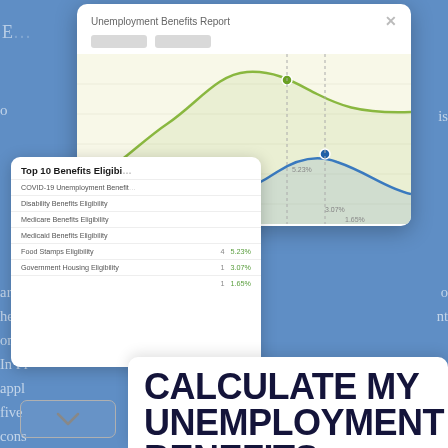[Figure (screenshot): Screenshot of an Unemployment Benefits Report modal popup with a line chart showing two curves (green and blue), overlaid on a blue background page. A secondary card shows 'Top 10 Benefits Eligibility' list with items including COVID-19 Unemployment Benefits, Disability Benefits Eligibility, Medicare Benefits Eligibility, Medicaid Benefits Eligibility, Food Stamps Eligibility, Government Housing Eligibility.]
CALCULATE MY UNEMPLOYMENT BENEFITS
[Figure (screenshot): Advertisement banner for 'Your Local Law Firm' (Rue & Ziffra) with a group photo of lawyers, tagline 'We help you fight to get your compensation that you deserve.' and a 'Learn More' button.]